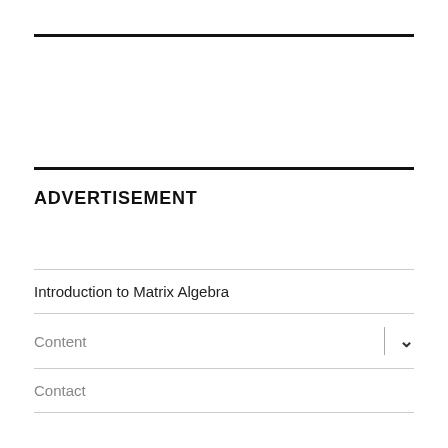ADVERTISEMENT
Introduction to Matrix Algebra
Content
Contact